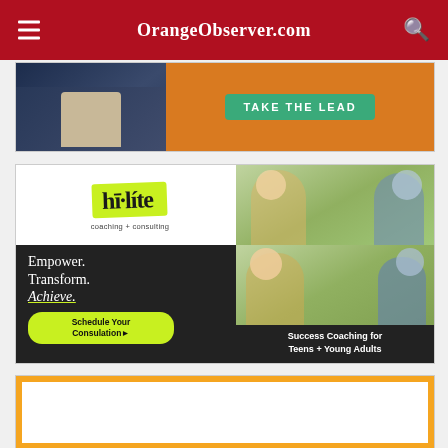OrangeObserver.com
[Figure (advertisement): Top partial advertisement banner with orange background and green 'TAKE THE LEAD' button]
[Figure (advertisement): Hi-Lite coaching + consulting ad. Top half: logo on yellow brushstroke, photo of teens. Bottom half: dark background with 'Empower. Transform. Achieve.' tagline, 'Schedule Your Consulation' CTA button, and 'Success Coaching for Teens + Young Adults' text]
[Figure (advertisement): Partial bottom advertisement with orange border on white background]